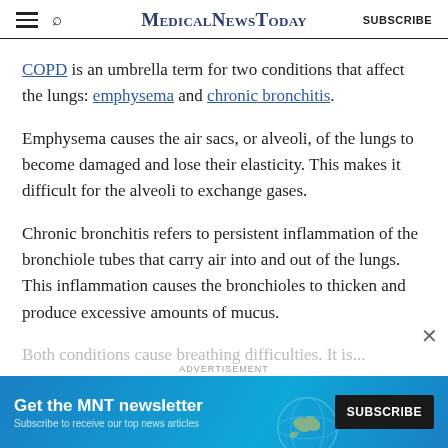MedicalNewsToday SUBSCRIBE
COPD is an umbrella term for two conditions that affect the lungs: emphysema and chronic bronchitis.
Emphysema causes the air sacs, or alveoli, of the lungs to become damaged and lose their elasticity. This makes it difficult for the alveoli to exchange gases.
Chronic bronchitis refers to persistent inflammation of the bronchiole tubes that carry air into and out of the lungs. This inflammation causes the bronchioles to thicken and produce excessive amounts of mucus.
[Figure (other): Advertisement banner: Get the MNT newsletter. Subscribe to receive our top news articles. SUBSCRIBE button. Blue background with globe graphic.]